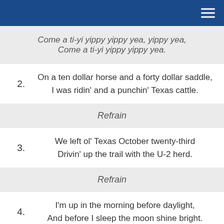Come a ti-yi yippy yippy yea, yippy yea,
Come a ti-yi yippy yippy yea.
2. On a ten dollar horse and a forty dollar saddle,
I was ridin' and a punchin' Texas cattle.
Refrain
3. We left ol' Texas October twenty-third
Drivin' up the trail with the U-2 herd.
Refrain
4. I'm up in the morning before daylight,
And before I sleep the moon shine bright.
Refrain
5. It's bacon and beans most every day,
I'd just as soon be eating prairie hay.
Refrain